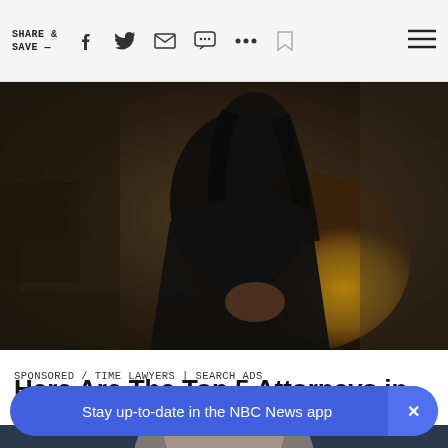SHARE & SAVE —
[Figure (photo): Woman in black jacket seated in a gold chair in a dimly lit office setting, photographed from the side/front]
SPONSORED / TIME LAWYERS | SEARCH ADS
Here Are The Top 5 Attorneys in Ashburn:
[Figure (photo): Blurred close-up photo of a person with light hair against a dark blue-gray background]
Stay up-to-date in the NBC News app